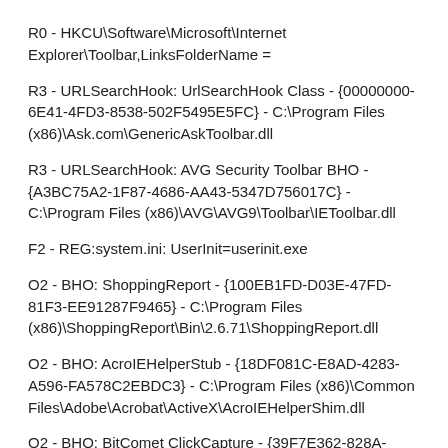R0 - HKCU\Software\Microsoft\Internet Explorer\Toolbar,LinksFolderName =
R3 - URLSearchHook: UrlSearchHook Class - {00000000-6E41-4FD3-8538-502F5495E5FC} - C:\Program Files (x86)\Ask.com\GenericAskToolbar.dll
R3 - URLSearchHook: AVG Security Toolbar BHO - {A3BC75A2-1F87-4686-AA43-5347D756017C} - C:\Program Files (x86)\AVG\AVG9\Toolbar\IEToolbar.dll
F2 - REG:system.ini: UserInit=userinit.exe
O2 - BHO: ShoppingReport - {100EB1FD-D03E-47FD-81F3-EE91287F9465} - C:\Program Files (x86)\ShoppingReport\Bin\2.6.71\ShoppingReport.dll
O2 - BHO: AcroIEHelperStub - {18DF081C-E8AD-4283-A596-FA578C2EBDC3} - C:\Program Files (x86)\Common Files\Adobe\Acrobat\ActiveX\AcroIEHelperShim.dll
O2 - BHO: BitComet ClickCapture - {39F7E362-828A-4B5A-BCAF-5B79BFDFEA60} - C:\Program Files (x86)\...